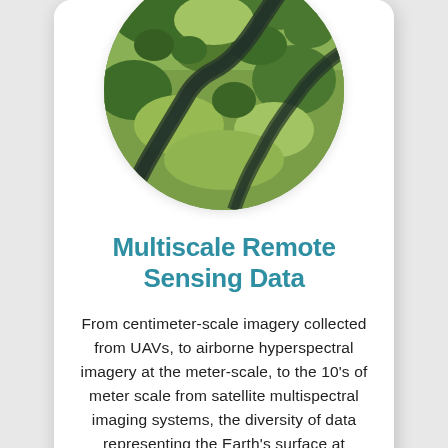[Figure (photo): Circular cropped aerial photograph of a winding river through green grassland and forest vegetation, viewed from above.]
Multiscale Remote Sensing Data
From centimeter-scale imagery collected from UAVs, to airborne hyperspectral imagery at the meter-scale, to the 10's of meter scale from satellite multispectral imaging systems, the diversity of data representing the Earth's surface at different scales and how to make use of them...